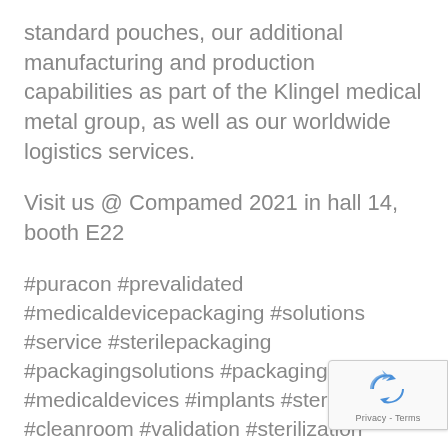standard pouches, our additional manufacturing and production capabilities as part of the Klingel medical metal group, as well as our worldwide logistics services.
Visit us @ Compamed 2021 in hall 14, booth E22
#puracon #prevalidated #medicaldevicepackaging #solutions #service #sterilepackaging #packagingsolutions #packaging #medicaldevices #implants #sterile #cleanroom #validation #sterilization #logistics #innovation #klingelmedicalmetal #compamed #me #exhibition
[Figure (other): reCAPTCHA privacy badge overlay in bottom-right corner showing a recycling-arrow logo and 'Privacy - Terms' text]